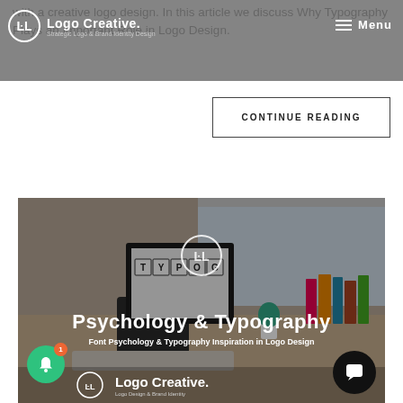Logo Creative — Strategic Logo & Brand Identity Design — Menu
with a creative logo design. In this article we discuss Why Typography Plays an Important Role in Logo Design.
CONTINUE READING
[Figure (photo): Photo of a desk with computer monitor showing 'TYPOG' text tiles, books, a small plant; overlaid with 'Psychology & Typography — Font Psychology & Typography Inspiration in Logo Design' and Logo Creative branding with notification bell and chat button]
Psychology & Typography
Font Psychology & Typography Inspiration in Logo Design